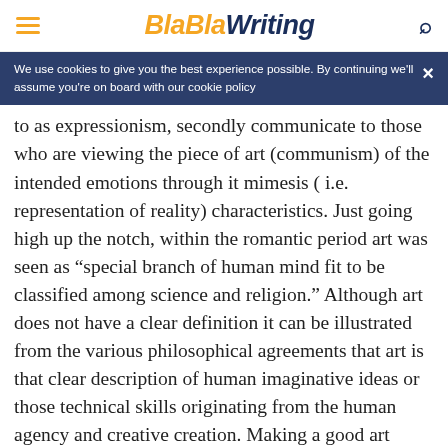BlaBlaWriting
We use cookies to give you the best experience possible. By continuing we'll assume you're on board with our cookie policy
to as expressionism, secondly communicate to those who are viewing the piece of art (communism) of the intended emotions through it mimesis ( i.e. representation of reality) characteristics. Just going high up the notch, within the romantic period art was seen as “special branch of human mind fit to be classified among science and religion.” Although art does not have a clear definition it can be illustrated from the various philosophical agreements that art is that clear description of human imaginative ideas or those technical skills originating from the human agency and creative creation. Making a good art needs proper coordination of many issues, proper control of this ideas matter the most in the final concept created. In the rest of this critic paper our main focus is to criticize the various